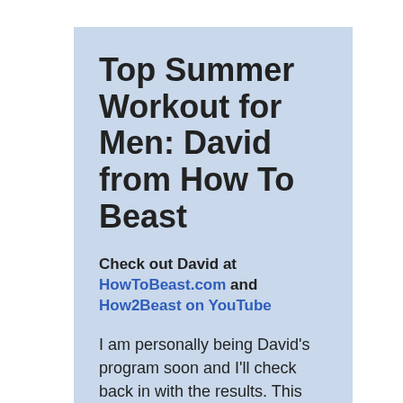Top Summer Workout for Men: David from How To Beast
Check out David at HowToBeast.com and How2Beast on YouTube
I am personally being David's program soon and I'll check back in with the results. This program really is for guys who